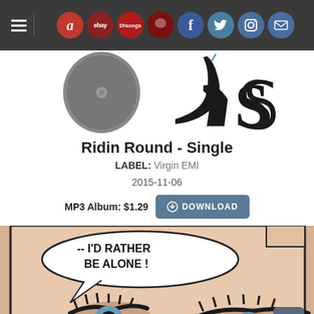Navigation bar with hamburger menu and icons: Amazon, eBay, Discogs, and social media icons (Facebook, Twitter, Instagram, Mail)
[Figure (illustration): Partial album artwork showing stylized gothic lettering and high heel shoe imagery on white background]
Ridin Round - Single
LABEL: Virgin EMI
2015-11-06
MP3 Album: $1.29  DOWNLOAD
[Figure (illustration): Comic book style panel showing close-up of a woman's eyes with speech bubble reading '--I'D RATHER BE ALONE!']